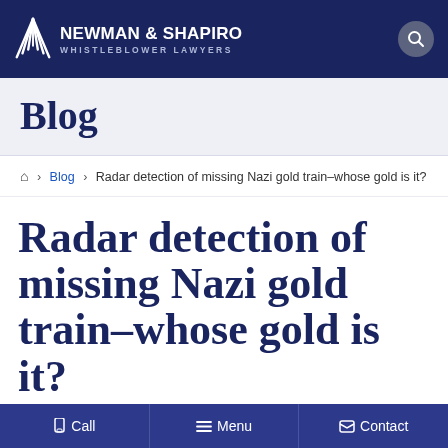NEWMAN & SHAPIRO WHISTLEBLOWER LAWYERS
Blog
⌂ > Blog > Radar detection of missing Nazi gold train–whose gold is it?
Radar detection of missing Nazi gold train–whose gold is it?
Call  Menu  Contact